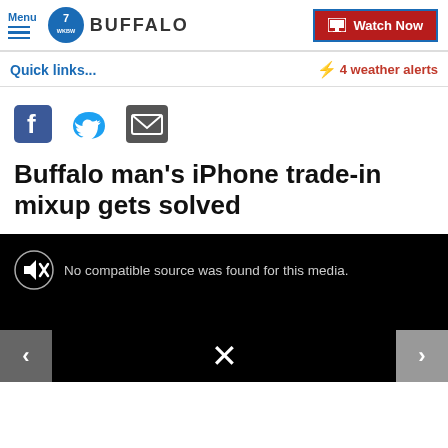Menu | 7 WKBW BUFFALO | Watch Now
Quick links...
⚡ 4 weather alerts
[Figure (other): Social share icons: Facebook, Twitter, Email]
Buffalo man's iPhone trade-in mixup gets solved
[Figure (screenshot): Video player showing black screen with muted icon and text: No compatible source was found for this media. Navigation arrows < and > on sides, X button center bottom.]